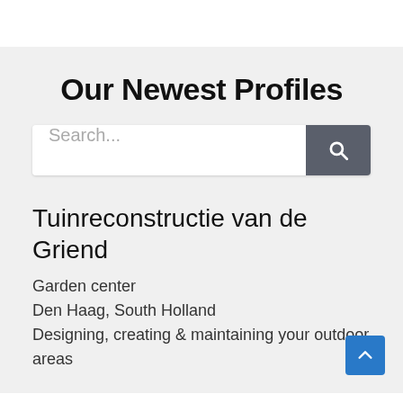Our Newest Profiles
[Figure (screenshot): Search bar with text input field placeholder 'Search...' and dark grey search button with magnifying glass icon]
Tuinreconstructie van de Griend
Garden center
Den Haag, South Holland
Designing, creating & maintaining your outdoor areas